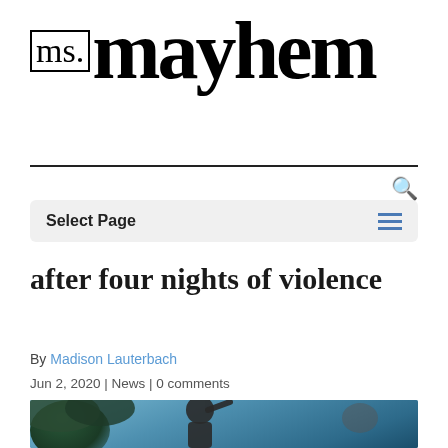[Figure (logo): ms.mayhem publication logo in bold serif font]
after four nights of violence
By Madison Lauterbach
Jun 2, 2020 | News | 0 comments
[Figure (photo): Person with glasses and braided hair raising one finger, speaking at an outdoor event, with other people visible in the background against a blue sky and green trees]